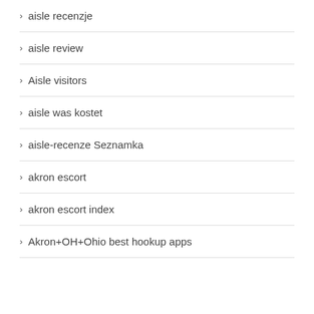aisle recenzje
aisle review
Aisle visitors
aisle was kostet
aisle-recenze Seznamka
akron escort
akron escort index
Akron+OH+Ohio best hookup apps